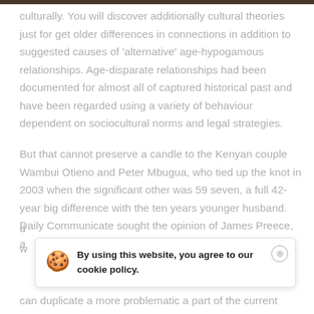culturally. You will discover additionally cultural theories just for get older differences in connections in addition to suggested causes of 'alternative' age-hypogamous relationships. Age-disparate relationships had been documented for almost all of captured historical past and have been regarded using a variety of behaviour dependent on sociocultural norms and legal strategies.
But that cannot preserve a candle to the Kenyan couple Wambui Otieno and Peter Mbugua, who tied up the knot in 2003 when the significant other was 59 seven, a full 42-year big difference with the ten years younger husband. Daily Communicate sought the opinion of James Preece, a d w can duplicate a more problematic a part of the current
[Figure (other): Cookie consent banner with cookie emoji icon, text 'By using this website, you agree to our cookie policy.' in bold, and a circular close button with X.]